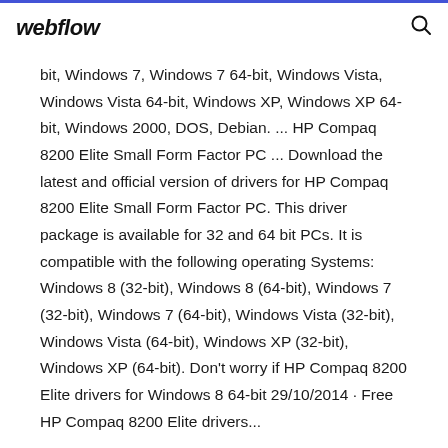webflow
bit, Windows 7, Windows 7 64-bit, Windows Vista, Windows Vista 64-bit, Windows XP, Windows XP 64-bit, Windows 2000, DOS, Debian. ... HP Compaq 8200 Elite Small Form Factor PC ... Download the latest and official version of drivers for HP Compaq 8200 Elite Small Form Factor PC. This driver package is available for 32 and 64 bit PCs. It is compatible with the following operating Systems: Windows 8 (32-bit), Windows 8 (64-bit), Windows 7 (32-bit), Windows 7 (64-bit), Windows Vista (32-bit), Windows Vista (64-bit), Windows XP (32-bit), Windows XP (64-bit). Don't worry if HP Compaq 8200 Elite drivers for Windows 8 64-bit 29/10/2014 · Free HP Compaq 8200 Elite drivers...